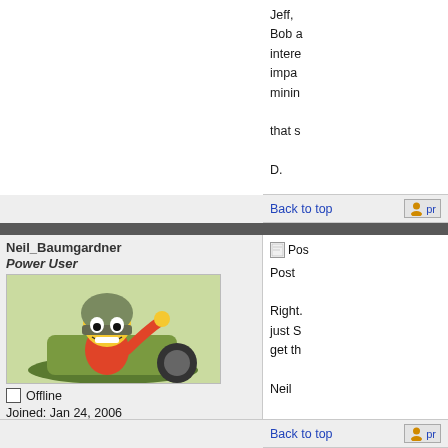Jeff, Bob a intere impa minin that s D.
Back to top
pr
Neil_Baumgardner Power User
[Figure (illustration): Cartoon avatar of Bart Simpson wearing a military helmet, sitting in a vehicle or turret]
Offline
Joined: Jan 24, 2006
Posts: 3942
Location: Arlington, VA
Pos Post Right. just S get th Neil
Back to top
pr